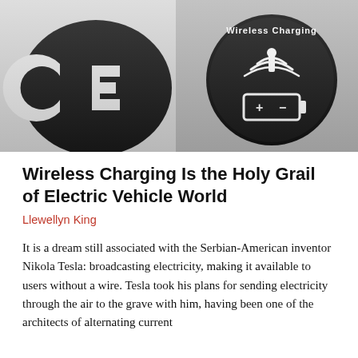[Figure (photo): Black and white photo showing wireless charging symbols. Left side shows a CE symbol, right side shows a circular black button/badge with 'Wireless Charging' text and a wireless charging icon (antenna with signal waves) above a battery icon with + and - symbols.]
Wireless Charging Is the Holy Grail of Electric Vehicle World
Llewellyn King
It is a dream still associated with the Serbian-American inventor Nikola Tesla: broadcasting electricity, making it available to users without a wire. Tesla took his plans for sending electricity through the air to the grave with him, having been one of the architects of alternating current